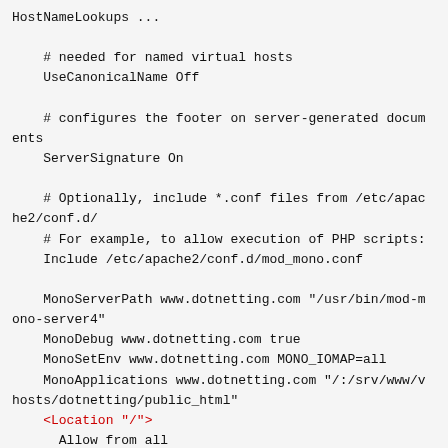HostNameLookups ...

    # needed for named virtual hosts
    UseCanonicalName Off

    # configures the footer on server-generated documents
    ServerSignature On

    # Optionally, include *.conf files from /etc/apache2/conf.d/
    # For example, to allow execution of PHP scripts:
    Include /etc/apache2/conf.d/mod_mono.conf

    MonoServerPath www.dotnetting.com "/usr/bin/mod-mono-server4"
    MonoDebug www.dotnetting.com true
    MonoSetEnv www.dotnetting.com MONO_IOMAP=all
    MonoApplications www.dotnetting.com "/:/srv/www/vhosts/dotnetting/public_html"
    <Location "/">
      Allow from all